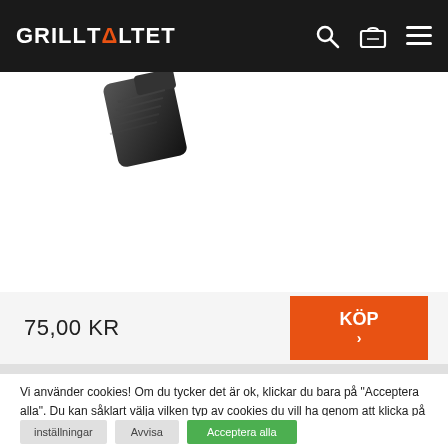GRILLTALTET
[Figure (photo): Partial product image showing a dark/black product item in upper left area of product section]
75,00 KR
KÖP ›
Vi använder cookies! Om du tycker det är ok, klickar du bara på "Acceptera alla". Du kan såklart välja vilken typ av cookies du vill ha genom att klicka på "Inställningar".
inställningar   Avvisa   Acceptera alla